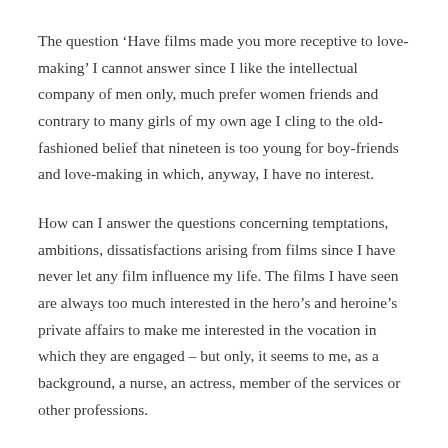The question ‘Have films made you more receptive to love-making’ I cannot answer since I like the intellectual company of men only, much prefer women friends and contrary to many girls of my own age I cling to the old-fashioned belief that nineteen is too young for boy-friends and love-making in which, anyway, I have no interest.
How can I answer the questions concerning temptations, ambitions, dissatisfactions arising from films since I have never let any film influence my life. The films I have seen are always too much interested in the hero’s and heroine’s private affairs to make me interested in the vocation in which they are engaged – but only, it seems to me, as a background, a nurse, an actress, member of the services or other professions.
Books and the theatre have influenced me but not films and I think this is because it is largely a question of one’s own will how one is influenced and I never believed that the films were a good influence. Undoubtedly